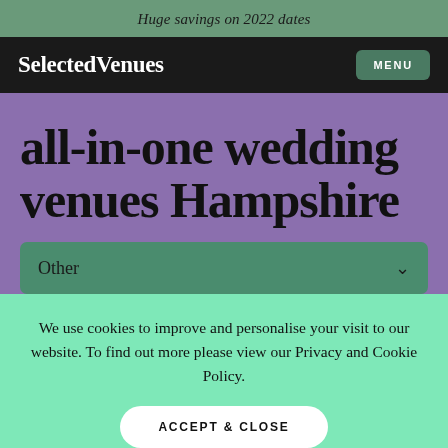Huge savings on 2022 dates
SelectedVenues  MENU
all-in-one wedding venues Hampshire
Other
We use cookies to improve and personalise your visit to our website. To find out more please view our Privacy and Cookie Policy.
ACCEPT & CLOSE